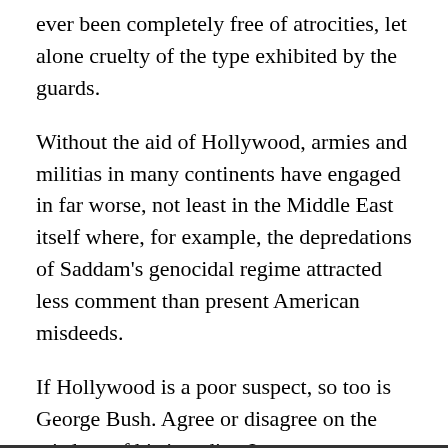ever been completely free of atrocities, let alone cruelty of the type exhibited by the guards.
Without the aid of Hollywood, armies and militias in many continents have engaged in far worse, not least in the Middle East itself where, for example, the depredations of Saddam's genocidal regime attracted less comment than present American misdeeds.
If Hollywood is a poor suspect, so too is George Bush. Agree or disagree on the wisdom of his invading Iraq to remove Saddam, Bush has, if anything, gone out of his way to avoid offence to Islam.